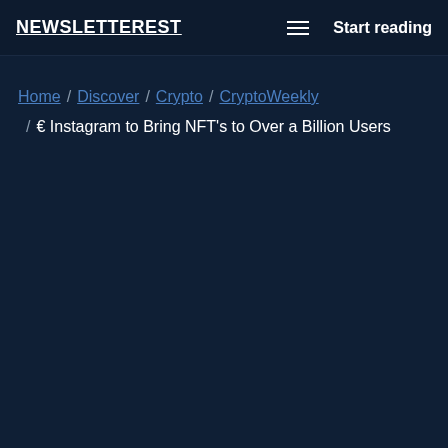NEWSLETTEREST   ☰   Start reading
Home / Discover / Crypto / CryptoWeekly / 🔷 Instagram to Bring NFT's to Over a Billion Users